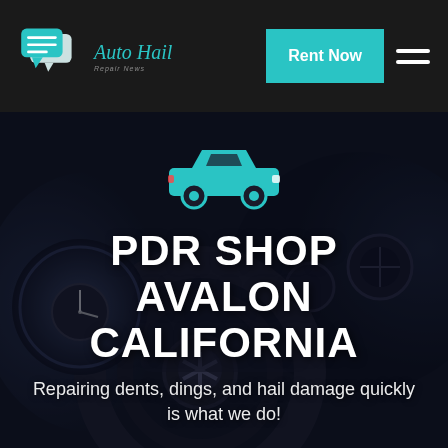[Figure (logo): Auto Hail Repair News logo with two speech bubble icons in teal and white]
Rent Now
[Figure (illustration): Teal car silhouette icon overlaid on dark car interior dashboard background photo]
PDR SHOP AVALON CALIFORNIA
Repairing dents, dings, and hail damage quickly is what we do!